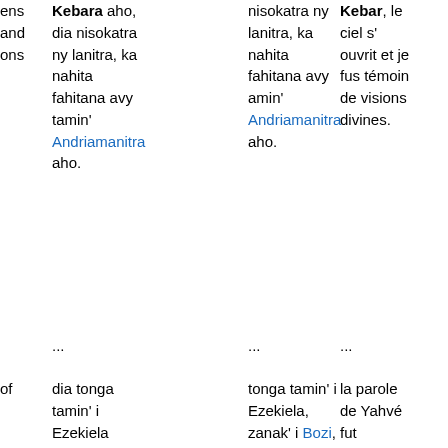ens and ons
Kebara aho, dia nisokatra ny lanitra, ka nahita fahitana avy tamin' Andriamanitra aho.
nisokatra ny lanitra, ka nahita fahitana avy amin' Andriamanitra aho.
Kebar, le ciel s' ouvrit et je fus témoin de visions divines.
...
...
...
of kiel , f he e s er and of was n
dia tonga tamin' i Ezekiela mpisorona, zanak' i Bozy, ny tenin' i Jehovah tany amin' ny tanin' ny Kaldeana, teo amoron' ny ony Kebara; ary ny tànan' i Jehovah dia taminy teo.
tonga tamin' i Ezekiela, zanak' i Bozi, mpisorona, ny tenin' ny Tompo, tany amin' ny tanin' ny Kaldeana, amoron' ny ony Kobara, ary mbý teo aminy teo ny tànan' ny Tompo.
la parole de Yahvé fut adressée au prêtre Ézéchiel, fils de Buzi, au pays des Chaldéens, au bord du fleuve Kebar. C' est là que la main de Yahvé fut